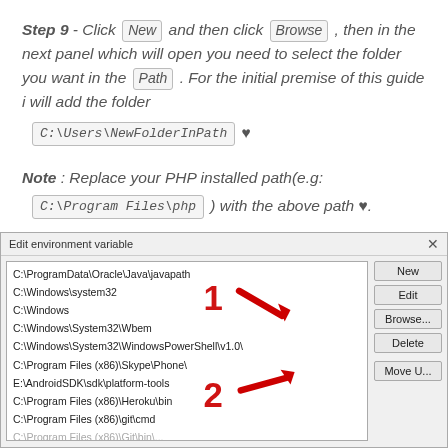Step 9 - Click New and then click Browse , then in the next panel which will open you need to select the folder you want in the Path . For the initial premise of this guide i will add the folder C:\Users\NewFolderInPath ♥
Note : Replace your PHP installed path(e.g: C:\Program Files\php ) with the above path ♥.
[Figure (screenshot): Windows Edit environment variable dialog showing a list of PATH entries (C:\ProgramData\Oracle\Java\javapath, C:\Windows\system32, C:\Windows, C:\Windows\System32\Wbem, C:\Windows\System32\WindowsPowerShell\v1.0\, C:\Program Files (x86)\Skype\Phone\, E:\AndroidSDK\sdk\platform-tools, C:\Program Files (x86)\Heroku\bin, C:\Program Files (x86)\git\cmd, and more) with buttons New, Edit, Browse..., Delete, Move Up. Red arrows labeled 1 and 2 point to the New and Browse... buttons respectively.]